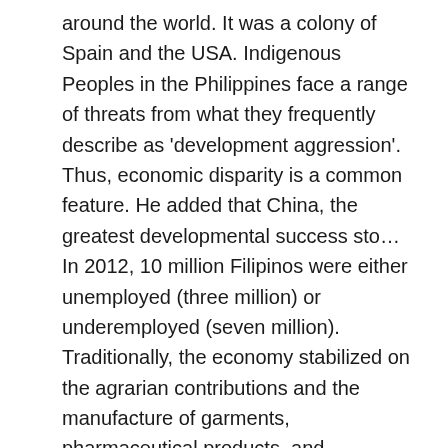around the world. It was a colony of Spain and the USA. Indigenous Peoples in the Philippines face a range of threats from what they frequently describe as 'development aggression'. Thus, economic disparity is a common feature. He added that China, the greatest developmental success sto… In 2012, 10 million Filipinos were either unemployed (three million) or underemployed (seven million). Traditionally, the economy stabilized on the agrarian contributions and the manufacture of garments, pharmaceutical products, and semiconductors. PPTX, PDF, TXT or read online from Scribd. Boundaries: When to Say Yes, How to Say No. Many of the unemployed individuals are college graduates. Out of these, 2.65 million were unemployed. This is because Mr. Duterte regards the issue and a peace-and-order problem when it is a health concern. As technology and society continue modernizing, contemporary economic issues continue to evolve as